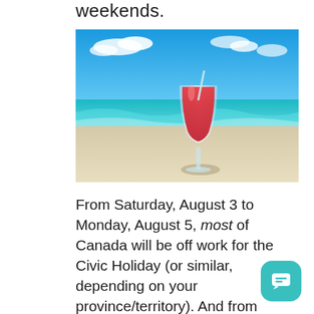weekends.
[Figure (photo): A red tropical cocktail in a hurricane glass with a straw, sitting on a sandy beach with turquoise ocean water and blue sky in the background.]
From Saturday, August 3 to Monday, August 5, most of Canada will be off work for the Civic Holiday (or similar, depending on your province/territory). And from Saturday, August 31 to Monday,